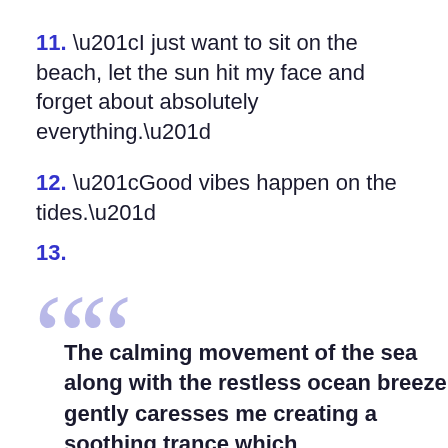11. “I just want to sit on the beach, let the sun hit my face and forget about absolutely everything.”
12. “Good vibes happen on the tides.”
13. The calming movement of the sea along with the restless ocean breeze gently caresses me creating a soothing trance which